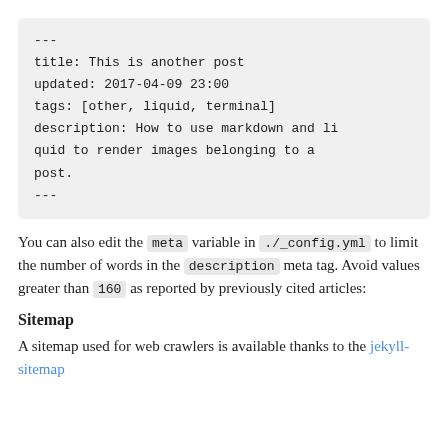[Figure (other): Code block showing YAML front matter: --- title: This is another post updated: 2017-04-09 23:00 tags: [other, liquid, terminal] description: How to use markdown and liquid to render images belonging to a post. ---]
You can also edit the meta variable in ./_config.yml to limit the number of words in the description meta tag. Avoid values greater than 160 as reported by previously cited articles:
Sitemap
A sitemap used for web crawlers is available thanks to the jekyll-sitemap